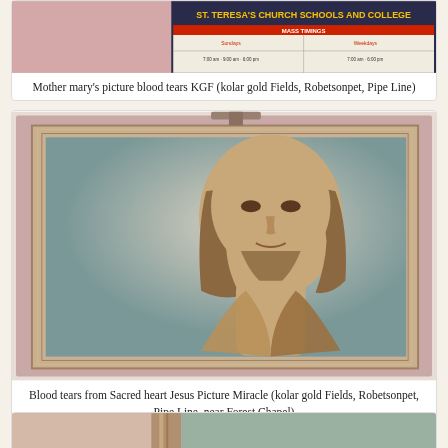[Figure (photo): Partial view of top card showing a church/school notice board reading 'ST. TERESA'S CHURCH SCHOOLS AND COLLEGE' and a pinkish-mauve colored image beside it.]
Mother mary's picture blood tears KGF (kolar gold Fields, Robetsonpet, Pipe Line)
[Figure (photo): A framed painting of the Sacred Heart of Jesus with long brown hair and beard, soft facial expression, set against a blue-grey background in a pink/cream frame.]
Blood tears from Sacred heart Jesus Picture Miracle (kolar gold Fields, Robetsonpet, Pipe Line, near Forest Chapel)
[Figure (photo): Partial view of a third card at the bottom of the page, showing the top of another framed painting.]